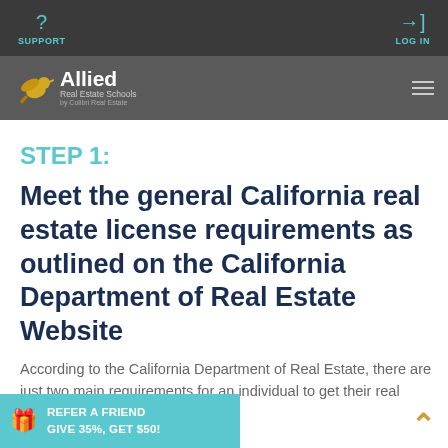SUPPORT   LOG IN
[Figure (logo): Allied Real Estate Schools by Colibri Real Estate logo with hummingbird icon on dark grey background]
STEP 1:
Meet the general California real estate license requirements as outlined on the California Department of Real Estate Website
According to the California Department of Real Estate, there are just two main requirements for an individual to get their real estate license, which are:
[Figure (infographic): Referral banner: REFER A FRIEND GIVE 35%, GET $50! with gift icon in teal]